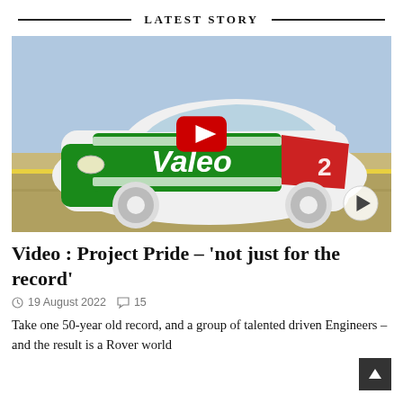LATEST STORY
[Figure (photo): A white racing car with green and red Valeo livery, number 2, photographed on a racetrack. A red YouTube play button overlay is in the center, and a smaller circular play button is in the bottom-right corner.]
Video : Project Pride – 'not just for the record'
19 August 2022   15
Take one 50-year old record, and a group of talented driven Engineers – and the result is a Rover world